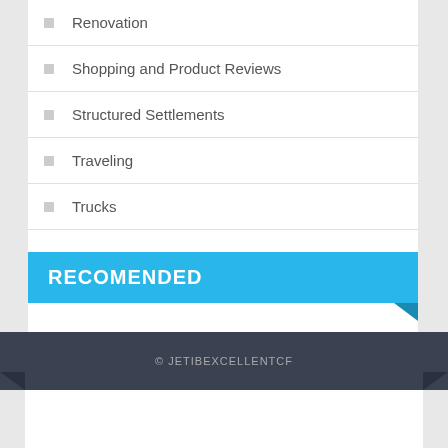Renovation
Shopping and Product Reviews
Structured Settlements
Traveling
Trucks
RECOMENDED
© JETIBEXCELLENTCF